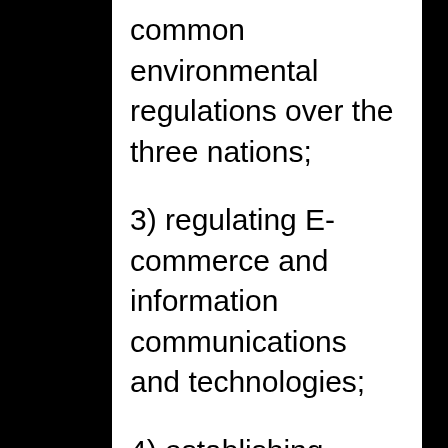common environmental regulations over the three nations;
3) regulating E-commerce and information communications and technologies;
4) establishing financial services, including loan policy and foreign aid